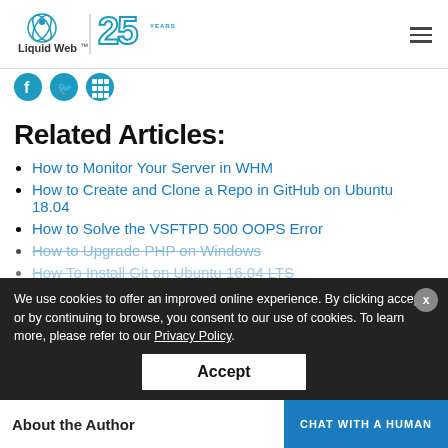[Figure (logo): Liquid Web 25 Years logo with teal atom/water drop icon and '25 YEARS' text in teal]
[Figure (illustration): Partial social media icons (Facebook, Twitter/bird, LinkedIn or similar) in teal]
Related Articles:
How to Monitor Your Server in WHM
How to Create and Clone a Repo in GitHub on Ubuntu 18.04
How to Solve the VSFTPD 500 OOPS Error
How to Upgrade PHP on Windows
How To Install Git on Ubuntu 16.04 LTS
We use cookies to offer an improved online experience. By clicking accept or by continuing to browse, you consent to our use of cookies. To learn more, please refer to our Privacy Policy.
Accept
About the Author
CHAT WITH A HUMAN